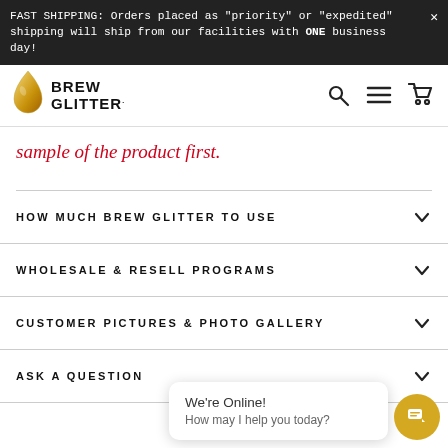FAST SHIPPING: Orders placed as "priority" or "expedited" shipping will ship from our facilities with ONE business day!
[Figure (logo): Brew Glitter logo with beer drop icon and bold uppercase text]
sample of the product first.
HOW MUCH BREW GLITTER TO USE
WHOLESALE & RESELL PROGRAMS
CUSTOMER PICTURES & PHOTO GALLERY
ASK A QUESTION
[Figure (screenshot): Live chat popup showing 'We're Online! How may I help you today?' with a gold circular chat button]